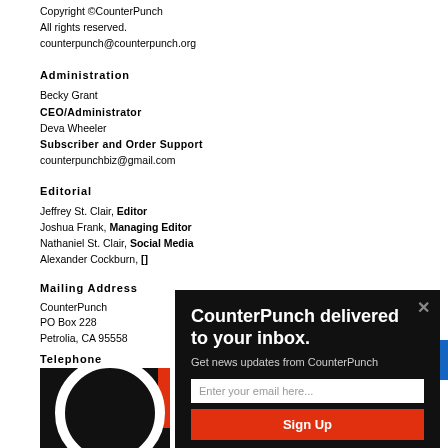Copyright © CounterPunch
All rights reserved.
counterpunch@counterpunch.org
Administration
Becky Grant
CEO/Administrator
Deva Wheeler
Subscriber and Order Support
counterpunchbiz@gmail.com
Editorial
Jeffrey St. Clair, Editor
Joshua Frank, Managing Editor
Nathaniel St. Clair, Social Media
Alexander Cockburn, [partially obscured]
Mailing Address
CounterPunch
PO Box 228
Petrolia, CA 95558
Telephone
Nichole Stephens, Ad[ministration]
1(707) 629-3683
[Figure (logo): CounterPunch logo — black background with white circle and red bar]
CounterPunch delivered to your inbox.
Get news updates from CounterPunch
[email input field]
Sign Up